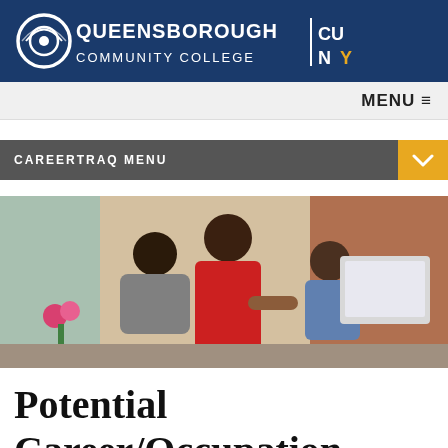QUEENSBOROUGH COMMUNITY COLLEGE | CUNY
MENU ≡
CAREERTRAQ MENU
[Figure (photo): A woman in a red dress helps two students looking at a computer screen in a college setting.]
Potential Career/Occupation Information